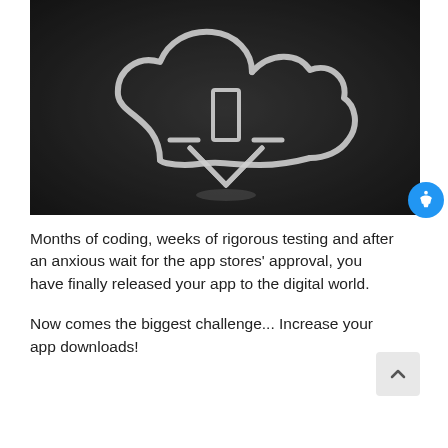[Figure (photo): Black and white photo of a chalk-drawn cloud with a download arrow symbol drawn on a dark chalkboard background.]
Months of coding, weeks of rigorous testing and after an anxious wait for the app stores' approval, you have finally released your app to the digital world.
Now comes the biggest challenge... Increase your app downloads!